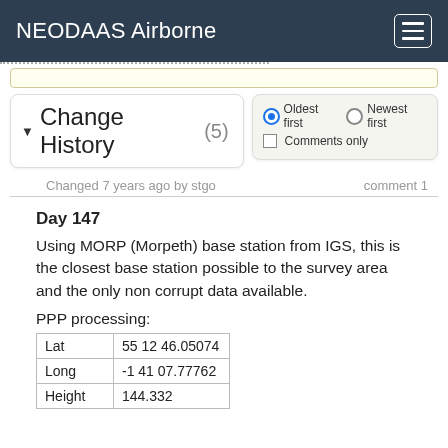NEODAAS Airborne
Change History (5)
Changed 7 years ago by stgo    comment 1
Day 147
Using MORP (Morpeth) base station from IGS, this is the closest base station possible to the survey area and the only non corrupt data available.
PPP processing:
|  |  |
| --- | --- |
| Lat | 55 12 46.05074 |
| Long | -1 41 07.77762 |
| Height | 144.332 |